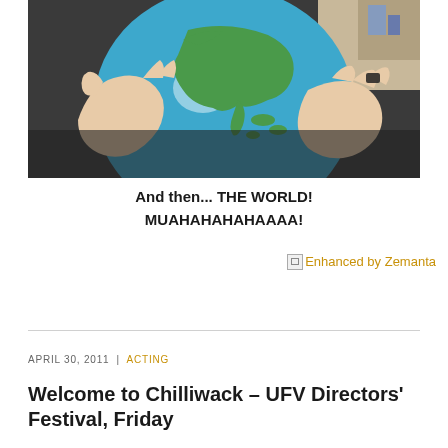[Figure (photo): Person holding a blue and green inflatable globe with both hands, showing Asia/Pacific landmasses on the globe. Dark clothing visible behind the hands.]
And then... THE WORLD! MUAHAHAHAHAAAA!
[Figure (logo): Broken image icon followed by 'Enhanced by Zemanta' text link in gold/orange color]
APRIL 30, 2011  |  ACTING
Welcome to Chilliwack – UFV Directors' Festival, Friday